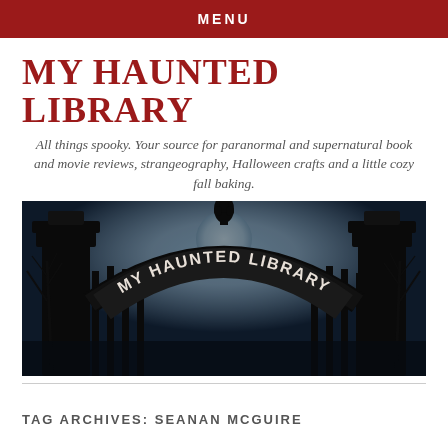MENU
MY HAUNTED LIBRARY
All things spooky. Your source for paranormal and supernatural book and movie reviews, strangeography, Halloween crafts and a little cozy fall baking.
[Figure (photo): Ornate iron gate with 'MY HAUNTED LIBRARY' written in an arch, set against a moody blue night sky with bare trees and a full moon.]
TAG ARCHIVES: SEANAN MCGUIRE